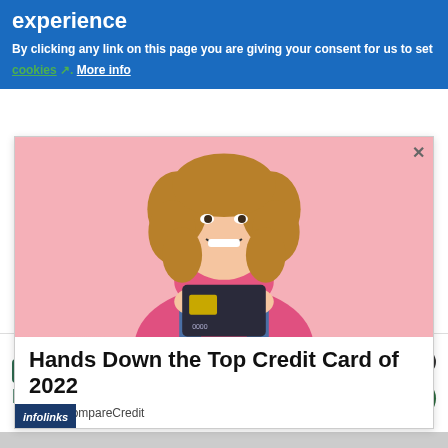experience
By clicking any link on this page you are giving your consent for us to set cookies. More info
[Figure (photo): Advertisement popup showing a smiling young woman with curly hair holding a credit card against a pink background, with text 'Hands Down the Top Credit Card of 2022' and 'Ad by CompareCredit']
[Figure (infographic): Tally app advertisement banner with logo, tagline 'Fast credit card payoff', and 'Download Now' button]